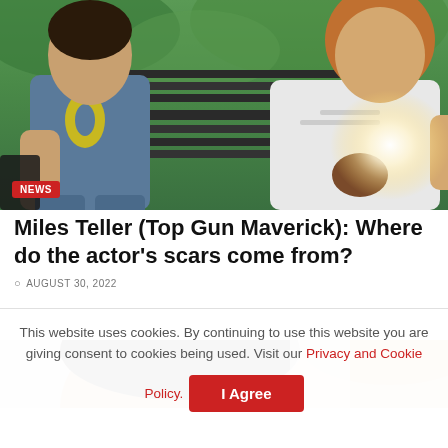[Figure (photo): Two people sitting on a park bench outdoors. A man in a blue t-shirt with a yellow graphic on the left, and a woman in a white shirt on the right. Bright sunlight glare visible on the right side. Green foliage in the background.]
NEWS
Miles Teller (Top Gun Maverick): Where do the actor's scars come from?
AUGUST 30, 2022
[Figure (photo): Partial view of two people's faces at the bottom of the article.]
This website uses cookies. By continuing to use this website you are giving consent to cookies being used. Visit our Privacy and Cookie Policy.
I Agree